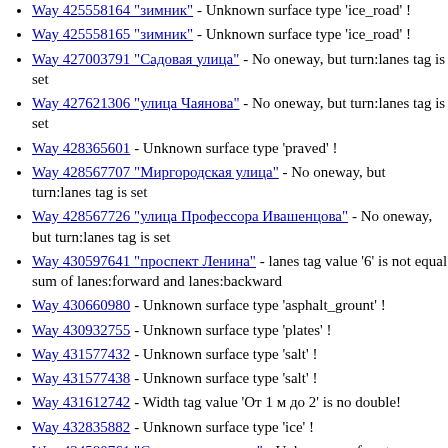Way 425558164 "зимник" - Unknown surface type 'ice_road' !
Way 425558165 "зимник" - Unknown surface type 'ice_road' !
Way 427003791 "Садовая улица" - No oneway, but turn:lanes tag is set
Way 427621306 "улица Чаянова" - No oneway, but turn:lanes tag is set
Way 428365601 - Unknown surface type 'praved' !
Way 428567707 "Миргородская улица" - No oneway, but turn:lanes tag is set
Way 428567726 "улица Профессора Ивашенцова" - No oneway, but turn:lanes tag is set
Way 430597641 "проспект Ленина" - lanes tag value '6' is not equal sum of lanes:forward and lanes:backward
Way 430660980 - Unknown surface type 'asphalt_grount' !
Way 430932755 - Unknown surface type 'plates' !
Way 431577432 - Unknown surface type 'salt' !
Way 431577438 - Unknown surface type 'salt' !
Way 431612742 - Width tag value 'От 1 м до 2' is no double!
Way 432835882 - Unknown surface type 'ice' !
Way 434580761 "Соловьиная улица" - Unknown surface type 'asphalt_compacted' !
Way 434910473 - Unknown surface type 'granite' !
Way 435303633 - Unknown surface type 'multibulk...' (truncated)